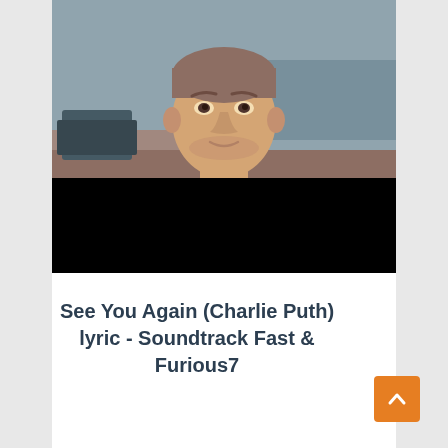[Figure (photo): Photo of a man (Paul Walker) with short hair wearing a dark jacket, standing outdoors with a blurred background. The lower portion of the image is covered by a solid black rectangle.]
See You Again (Charlie Puth) lyric - Soundtrack Fast & Furious7